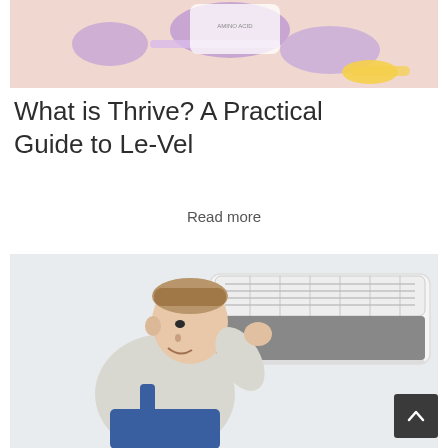[Figure (photo): Close-up photo of fitness/health supplements — purple dumbbells, a measuring tape, and a supplement packet with 'AMINO ACID' text visible, on a light pink background.]
What is Thrive? A Practical Guide to Le-Vel
Read more
[Figure (photo): Photo of a male technician in overalls servicing or inspecting a wall-mounted air conditioning unit, lifting the front panel to reveal the internal filter.]
[Figure (other): Scroll-to-top button (dark square with upward chevron arrow icon) in the bottom-right corner.]